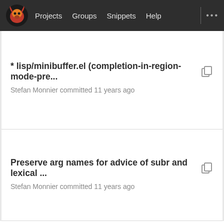Projects  Groups  Snippets  Help
* lisp/minibuffer.el (completion-in-region-mode-pre...
Stefan Monnier committed 11 years ago
Preserve arg names for advice of subr and lexical ...
Stefan Monnier committed 11 years ago